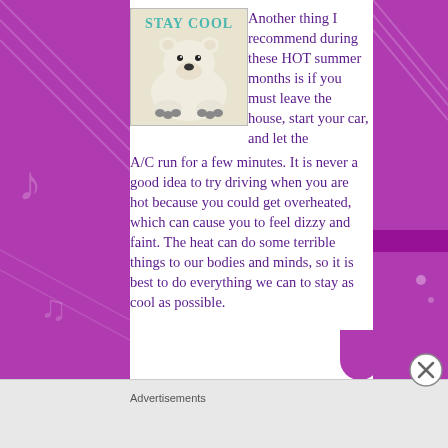[Figure (illustration): A polar bear lying down with paws forward, with text 'STAY COOL' in teal/green letters at the top of the image.]
Another thing I recommend during these HOT summer months is if you must leave the house, start your car, and let the A/C run for a few minutes. It is never a good idea to try driving when you are hot because you could get overheated, which can cause you to feel dizzy and faint. The heat can do some terrible things to our bodies and minds, so it is best to do everything we can to stay as cool as possible.
Advertisements